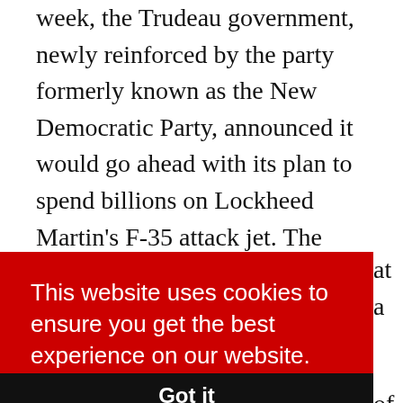week, the Trudeau government, newly reinforced by the party formerly known as the New Democratic Party, announced it would go ahead with its plan to spend billions on Lockheed Martin's F-35 attack jet. The purchase guarantees monies needed for the health and well-being of Canadians will instead be devoted to enriching one of the World's biggest purveyors of death and misery – for
at a
This website uses cookies to ensure you get the best experience on our website. Learn more
Got it
of
Ronald Reagan's Dirty Wars in Latin America.